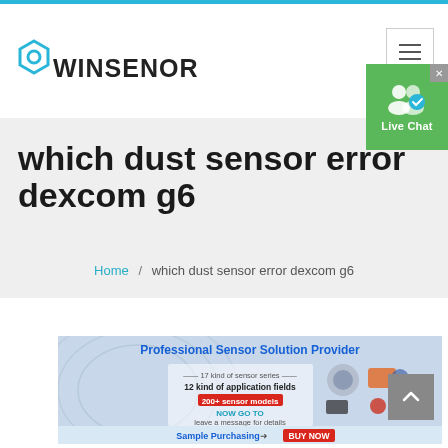WINSENOR
which dust sensor error dexcom g6
Home / which dust sensor error dexcom g6
[Figure (infographic): Professional Sensor Solution Provider banner ad. Text reads: 17 kind of sensor series, 12 kind of application fields, 200+ sensor models, NOW GO TO leave a message for details. Sample Purchasing BUY NOW. Shows various sensor products on a blue/grey background.]